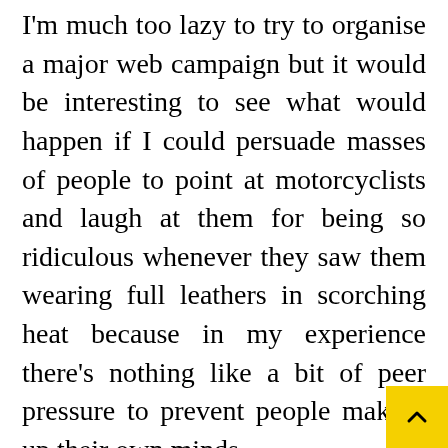I'm much too lazy to try to organise a major web campaign but it would be interesting to see what would happen if I could persuade masses of people to point at motorcyclists and laugh at them for being so ridiculous whenever they saw them wearing full leathers in scorching heat because in my experience there's nothing like a bit of peer pressure to prevent people making up their own minds.
Enjoy your summer wearing whatever suits you best and why don't you try making an effort to leave others people to do exactly the same in their own sweet way.